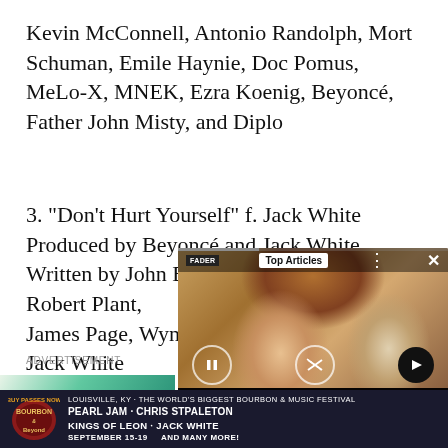Kevin McConnell, Antonio Randolph, Mort Schuman, Emile Haynie, Doc Pomus, MeLo-X, MNEK, Ezra Koenig, Beyoncé, Father John Misty, and Diplo
3. "Don't Hurt Yourself" f. Jack White
Produced by Beyoncé and Jack White
Written by John Bonham, John Paul Jones, Robert Plant, James Page, Wynter Gordon, Beyoncé, and Jack White
4. "Sorry"
Produced by Wynter G
Written by Wynter Go
ADVERTISEMENT
[Figure (photo): Overlay media card showing two people (Britney Spears and Elton John) with FADER branding, Top Articles label, playback controls, and caption 'Britney Spears and Elton John join forces on "Hold Me Closer"']
[Figure (photo): Partial left advertisement banner with colorful floral background and bold red text 'ROW']
[Figure (other): Bottom advertisement banner: Bourbon & Beyond festival. Louisville, KY - The World's Biggest Bourbon & Music Festival. Pearl Jam - Chris Stpaleton, Kings of Leon - Jack White. September 15-19. And many more!]